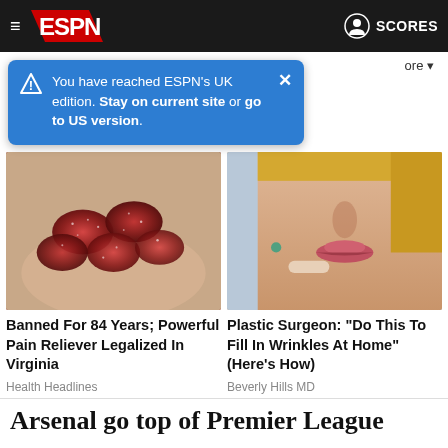ESPN navigation bar with hamburger menu, ESPN logo, and SCORES button
You have reached ESPN's UK edition. Stay on current site or go to US version.
[Figure (photo): Photo of red sugar-coated gummy candies held in a hand]
Banned For 84 Years; Powerful Pain Reliever Legalized In Virginia
Health Headlines
[Figure (photo): Close-up photo of a woman's face showing lips, nose and jawline with someone touching her cheek]
Plastic Surgeon: "Do This To Fill In Wrinkles At Home" (Here's How)
Beverly Hills MD
Arsenal go top of Premier League